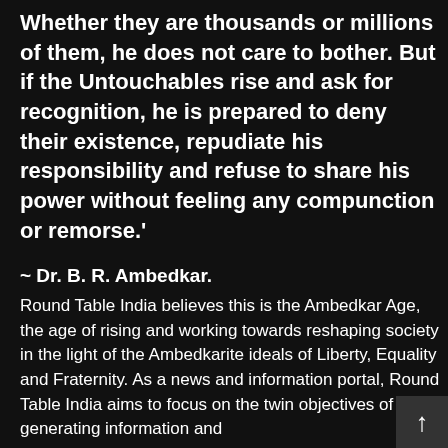Whether they are thousands or millions of them, he does not care to bother. But if the Untouchables rise and ask for recognition, he is prepared to deny their existence, repudiate his responsibility and refuse to share his power without feeling any compunction or remorse.'
~ Dr. B. R. Ambedkar.
Round Table India believes this is the Ambedkar Age, the age of rising and working towards reshaping society in the light of the Ambedkarite ideals of Liberty, Equality and Fraternity. As a news and information portal, Round Table India aims to focus on the twin objectives of generating information and